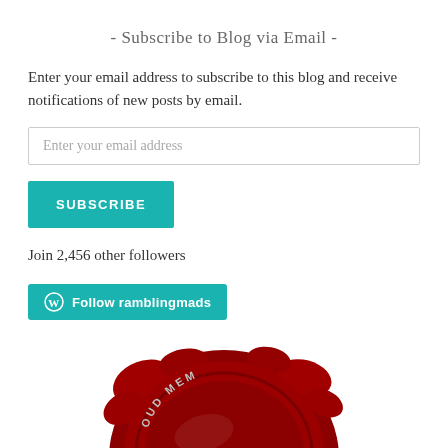- Subscribe to Blog via Email -
Enter your email address to subscribe to this blog and receive notifications of new posts by email.
Enter your email address
SUBSCRIBE
Join 2,456 other followers
[Figure (illustration): Teal button with WordPress logo icon and text 'Follow ramblingmads']
[Figure (illustration): Red wax seal partially visible at bottom of page with text 'PROUD MEM...' (member badge)]